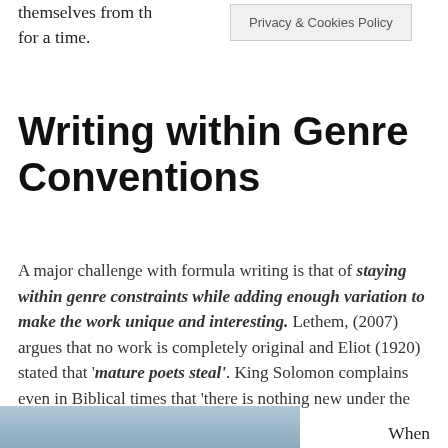themselves from the world for a time.
Privacy & Cookies Policy
Writing within Genre Conventions
A major challenge with formula writing is that of staying within genre constraints while adding enough variation to make the work unique and interesting. Lethem, (2007) argues that no work is completely original and Eliot (1920) stated that ‘mature poets steal’. King Solomon complains even in Biblical times that ‘there is nothing new under the sun’ (Ecclesiastes 1:9).
When